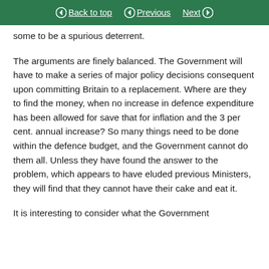Back to top | Previous | Next
some to be a spurious deterrent.
The arguments are finely balanced. The Government will have to make a series of major policy decisions consequent upon committing Britain to a replacement. Where are they to find the money, when no increase in defence expenditure has been allowed for save that for inflation and the 3 per cent. annual increase? So many things need to be done within the defence budget, and the Government cannot do them all. Unless they have found the answer to the problem, which appears to have eluded previous Ministers, they will find that they cannot have their cake and eat it.
It is interesting to consider what the Government did in paragraph 003 of the White Paper—